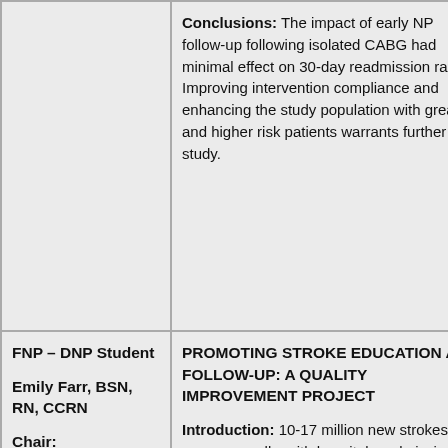Conclusions: The impact of early NP follow-up following isolated CABG had minimal effect on 30-day readmission rates. Improving intervention compliance and enhancing the study population with greater and higher risk patients warrants further study.
FNP – DNP Student
Emily Farr, BSN, RN, CCRN
Chair:
PROMOTING STROKE EDUCATION AT FOLLOW-UP: A QUALITY IMPROVEMENT PROJECT
Introduction: 10-17 million new strokes occur annually, with hospital readmission